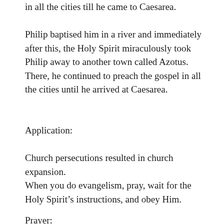in all the cities till he came to Caesarea.
Philip baptised him in a river and immediately after this, the Holy Spirit miraculously took Philip away to another town called Azotus. There, he continued to preach the gospel in all the cities until he arrived at Caesarea.
Application:
Church persecutions resulted in church expansion.
When you do evangelism, pray, wait for the Holy Spirit’s instructions, and obey Him.
Prayer: